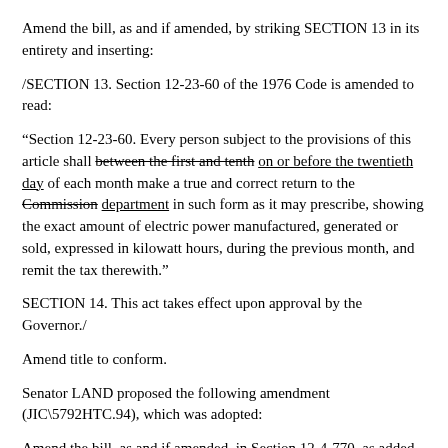Amend the bill, as and if amended, by striking SECTION 13 in its entirety and inserting:
/SECTION 13. Section 12-23-60 of the 1976 Code is amended to read:
"Section 12-23-60. Every person subject to the provisions of this article shall between the first and tenth on or before the twentieth day of each month make a true and correct return to the Commission department in such form as it may prescribe, showing the exact amount of electric power manufactured, generated or sold, expressed in kilowatt hours, during the previous month, and remit the tax therewith."
SECTION 14. This act takes effect upon approval by the Governor./
Amend title to conform.
Senator LAND proposed the following amendment (JIC\5792HTC.94), which was adopted:
Amend the bill, as and if amended, in Section 12-4-770, as added in SECTION 1, page 3, by inserting before the quotation mark on line 31 /The department may, upon request within the thirty-day